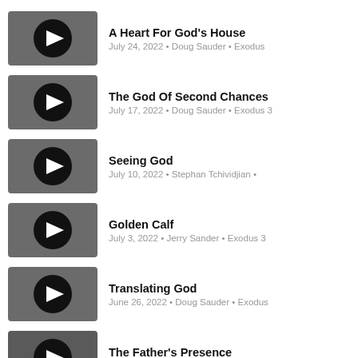A Heart For God's House
July 24, 2022 • Doug Sauder • Exodus
The God Of Second Chances
July 17, 2022 • Doug Sauder • Exodus 3
Seeing God
July 10, 2022 • Stephan Tchividjian •
Golden Calf
July 3, 2022 • Jerry Sander • Exodus 3
Translating God
June 26, 2022 • Doug Sauder • Exodus
The Father's Presence
June 19, 2022 • Duane Roberts • Exod